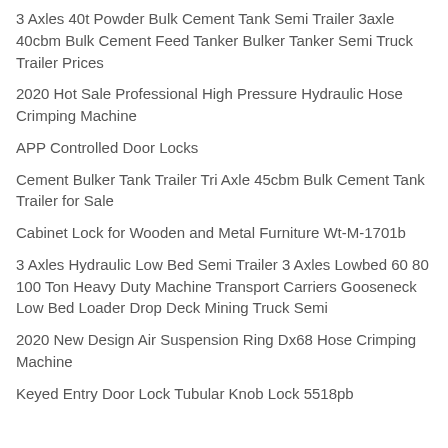3 Axles 40t Powder Bulk Cement Tank Semi Trailer 3axle 40cbm Bulk Cement Feed Tanker Bulker Tanker Semi Truck Trailer Prices
2020 Hot Sale Professional High Pressure Hydraulic Hose Crimping Machine
APP Controlled Door Locks
Cement Bulker Tank Trailer Tri Axle 45cbm Bulk Cement Tank Trailer for Sale
Cabinet Lock for Wooden and Metal Furniture Wt-M-1701b
3 Axles Hydraulic Low Bed Semi Trailer 3 Axles Lowbed 60 80 100 Ton Heavy Duty Machine Transport Carriers Gooseneck Low Bed Loader Drop Deck Mining Truck Semi
2020 New Design Air Suspension Ring Dx68 Hose Crimping Machine
Keyed Entry Door Lock Tubular Knob Lock 5518pb